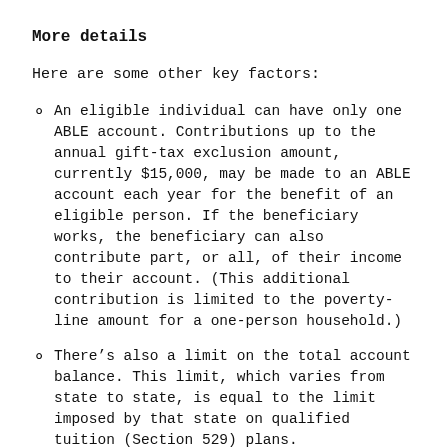More details
Here are some other key factors:
An eligible individual can have only one ABLE account. Contributions up to the annual gift-tax exclusion amount, currently $15,000, may be made to an ABLE account each year for the benefit of an eligible person. If the beneficiary works, the beneficiary can also contribute part, or all, of their income to their account. (This additional contribution is limited to the poverty-line amount for a one-person household.)
There’s also a limit on the total account balance. This limit, which varies from state to state, is equal to the limit imposed by that state on qualified tuition (Section 529) plans.
ABLE accounts have no impact on an individual’s